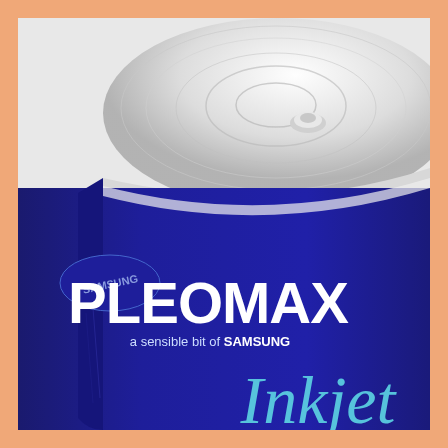[Figure (photo): Close-up product photo of a Samsung Pleomax Inkjet CD/DVD spindle case. The cylindrical container has a dark navy/cobalt blue body with a clear plastic lid showing stacked discs inside. The blue label reads 'PLEOMAX' in large white bold letters, with 'a sensible bit of SAMSUNG' in smaller white text below. A partial Samsung oval logo is visible on the left side. The word 'Inkjet' is partially visible at the bottom in light blue cursive text. The background is a peach/salmon orange color.]